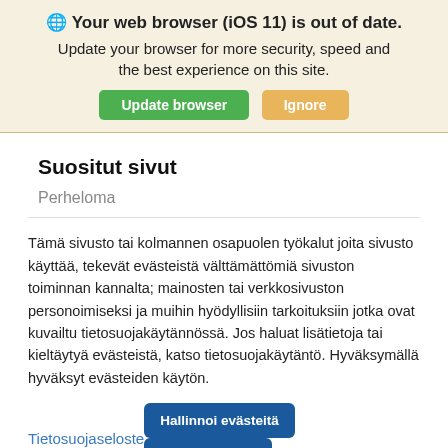🌐 Your web browser (iOS 11) is out of date. Update your browser for more security, speed and the best experience on this site.
Suositut sivut
Perheloma
Tämä sivusto tai kolmannen osapuolen työkalut joita sivusto käyttää, tekevät evästeistä välttämättömiä sivuston toiminnan kannalta; mainosten tai verkkosivuston personoimiseksi ja muihin hyödyllisiin tarkoituksiin jotka ovat kuvailtu tietosuojakäytännössä. Jos haluat lisätietoja tai kieltäytyä evästeistä, katso tietosuojakäytäntö. Hyväksymällä hyväksyt evästeiden käytön.
Tietosuojaseloste | Hallinnoi evästeitä | Hyväksy kaikki